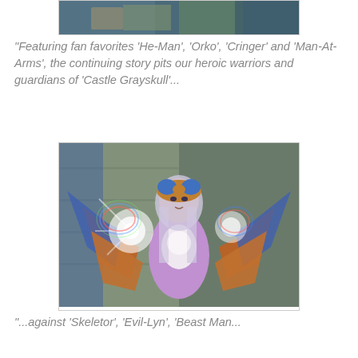[Figure (photo): Partial top of an animated scene showing characters from He-Man, cropped at top of page]
"Featuring fan favorites 'He-Man', 'Orko', 'Cringer' and 'Man-At-Arms', the continuing story pits our heroic warriors and guardians of 'Castle Grayskull'...
[Figure (photo): Animated character resembling Evil-Lyn from Masters of the Universe: Revelation, a woman in purple outfit with orange and blue feathered wings, glowing energy orbs in hands, standing in front of a stone castle backdrop]
"...against 'Skeletor', 'Evil-Lyn', 'Beast Man...